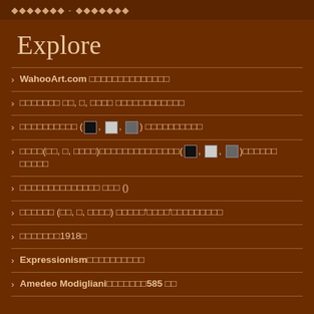◆◆◆◆◆◆◆ - ◆◆◆◆◆◆◆
Explore
WahooArt.com ◆◆◆◆◆◆◆◆◆◆◆◆◆◆
◆◆◆◆◆◆◆ ◆◆, ◆, ◆◆◆◆ ◆◆◆◆◆◆◆◆◆◆◆◆
◆◆◆◆◆◆◆◆◆◆ (■ , □ , ▪) ◆◆◆◆◆◆◆◆◆◆
◆◆◆◆(◆◆, ◆, ◆◆◆◆)◆◆◆◆◆◆◆◆◆◆◆◆◆◆(■ , □ , ▪)◆◆◆◆◆◆ ◆◆◆◆◆
◆◆◆◆◆◆◆◆◆◆◆◆◆◆ ◆◆◆ ()
◆◆◆◆◆◆ (◆◆, ◆, ◆◆◆◆) ◆◆◆◆◆'◆◆◆◆'◆◆◆◆◆◆◆◆◆
◆◆◆◆◆◆◆1918◆
Expressionism◆◆◆◆◆◆◆◆◆◆
Amedeo Modigliani◆◆◆◆◆◆◆585 ◆◆